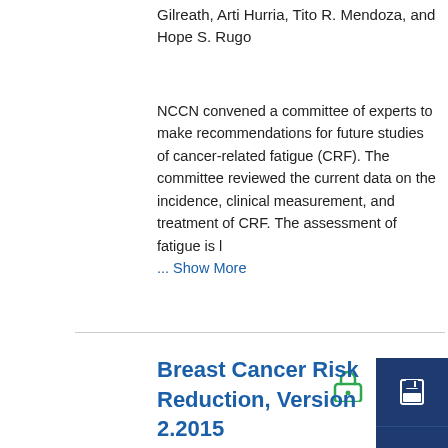Gilreath, Arti Hurria, Tito R. Mendoza, and Hope S. Rugo
NCCN convened a committee of experts to make recommendations for future studies of cancer-related fatigue (CRF). The committee reviewed the current data on the incidence, clinical measurement, and treatment of CRF. The assessment of fatigue is l ... Show More
Breast Cancer Risk Reduction, Version 2.2015
Therese B. Bevers, John H. Ward, Banu K. Arun, Graham A. Colditz, Kenneth H. Cowan, Mary B. Daly, Judy E. Garber, Mary L. Gemignani, William J. Gradishar, Judith A. Jordan, Larissa A. Korde, Nicole Koupalakis, Helen Krontiras, Shisha